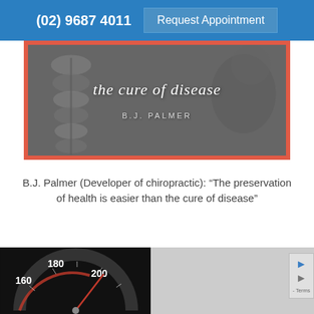(02) 9687 4011   Request Appointment
[Figure (photo): Book cover image with grayscale spine/vertebrae illustration, red border, title 'the cure of disease' in white italic serif font, author 'B.J. PALMER' in small caps]
B.J. Palmer (Developer of chiropractic): “The preservation of health is easier than the cure of disease”
[Figure (photo): Partial view of a car speedometer showing numbers 160, 180, 200 in white on black background with red needle indicator]